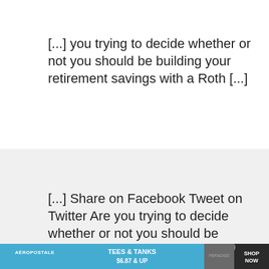[...] you trying to decide whether or not you should be building your retirement savings with a Roth [...]
[...] Share on Facebook Tweet on Twitter Are you trying to decide whether or not you should be building your retirement savings with a Roth [...]
[Figure (infographic): Advertisement banner for Aeropostale: TEES & TANKS $6.87 & UP with SHOP NOW button and photo]